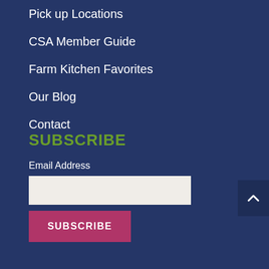Pick up Locations
CSA Member Guide
Farm Kitchen Favorites
Our Blog
Contact
SUBSCRIBE
Email Address
SUBSCRIBE